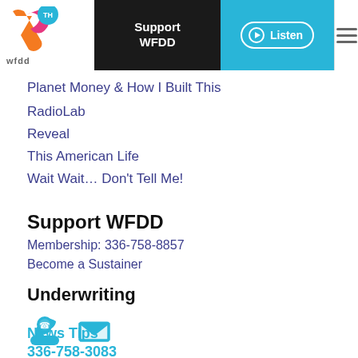WFDD 75th - Support WFDD | Listen | Menu
Planet Money & How I Built This
RadioLab
Reveal
This American Life
Wait Wait... Don't Tell Me!
Support WFDD
Membership: 336-758-8857
Become a Sustainer
Underwriting
[Figure (infographic): Phone and email icons in cyan/teal color]
News Tips
336-758-3083